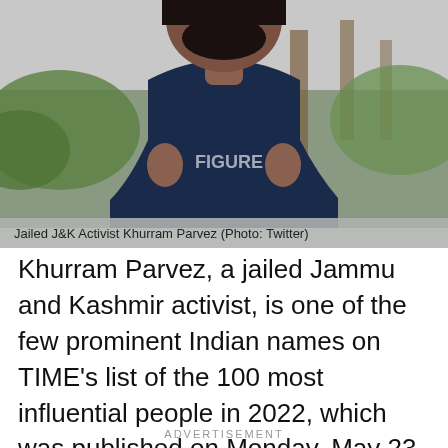[Figure (photo): Photo of Jailed J&K Activist Khurram Parvez, a man wearing a dark navy blue t-shirt with arms crossed, outdoors with green foliage in the background.]
Jailed J&K Activist Khurram Parvez (Photo: Twitter)
Khurram Parvez, a jailed Jammu and Kashmir activist, is one of the few prominent Indian names on TIME’s list of the 100 most influential people in 2022, which was published on Monday, May 23. The list also includes Indian billionaire Gautam Adani and lawyer Karuna Nundy.
ADVERTISEMENT